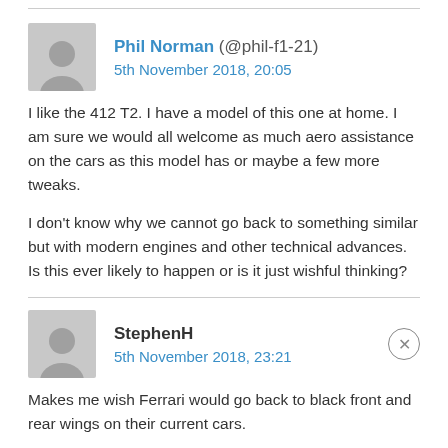Phil Norman (@phil-f1-21) 5th November 2018, 20:05
I like the 412 T2. I have a model of this one at home. I am sure we would all welcome as much aero assistance on the cars as this model has or maybe a few more tweaks.
I don't know why we cannot go back to something similar but with modern engines and other technical advances. Is this ever likely to happen or is it just wishful thinking?
StephenH 5th November 2018, 23:21
Makes me wish Ferrari would go back to black front and rear wings on their current cars.